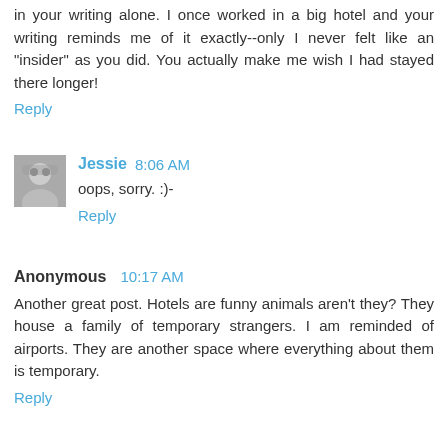in your writing alone. I once worked in a big hotel and your writing reminds me of it exactly--only I never felt like an "insider" as you did. You actually make me wish I had stayed there longer!
Reply
Jessie  8:06 AM
oops, sorry. :)-
Reply
Anonymous  10:17 AM
Another great post. Hotels are funny animals aren't they? They house a family of temporary strangers. I am reminded of airports. They are another space where everything about them is temporary.
Reply